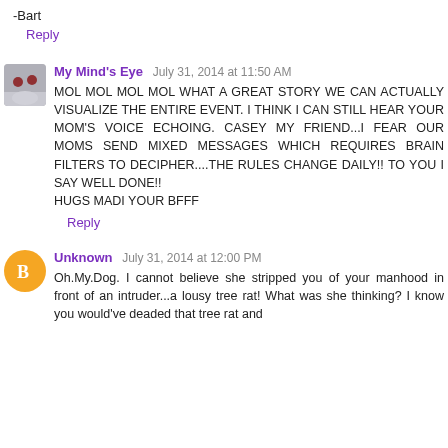-Bart
Reply
My Mind's Eye   July 31, 2014 at 11:50 AM
MOL MOL MOL MOL WHAT A GREAT STORY WE CAN ACTUALLY VISUALIZE THE ENTIRE EVENT. I THINK I CAN STILL HEAR YOUR MOM'S VOICE ECHOING. CASEY MY FRIEND...I FEAR OUR MOMS SEND MIXED MESSAGES WHICH REQUIRES BRAIN FILTERS TO DECIPHER....THE RULES CHANGE DAILY!! TO YOU I SAY WELL DONE!!
HUGS MADI YOUR BFFF
Reply
Unknown   July 31, 2014 at 12:00 PM
Oh.My.Dog. I cannot believe she stripped you of your manhood in front of an intruder...a lousy tree rat! What was she thinking? I know you would've deaded that tree rat and